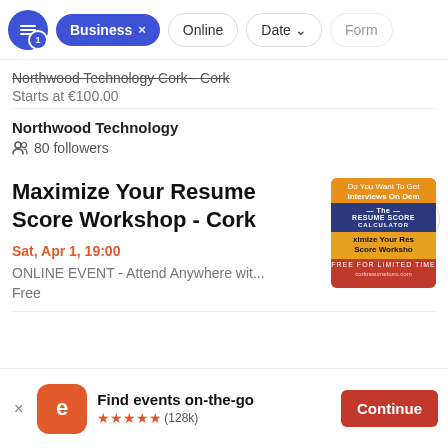Business x | Online | Date | Form
Northwood Technology Cork - Cork
Starts at €100.00
Northwood Technology
80 followers
Maximize Your Resume Score Workshop - Cork
Sat, Apr 1, 19:00
ONLINE EVENT - Attend Anywhere wit...
Free
[Figure (illustration): Event thumbnail for Resume Score Workshop - orange background with text 'Do You Want To Get Interviews On Demand', Resume Score Calculator badge, and 'FREE FOR LIMITED TIME' banner]
Find events on-the-go
★★★★★ (128k)
Continue